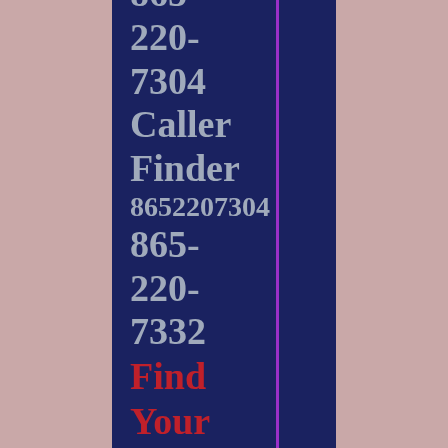8652207322
865-
220-
7304
Caller
Finder
8652207304
865-
220-
7332
Find Your Caller
8652207332
865-
220-
7364